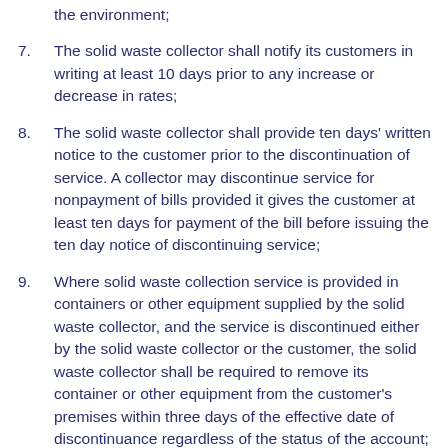the environment;
7. The solid waste collector shall notify its customers in writing at least 10 days prior to any increase or decrease in rates;
8. The solid waste collector shall provide ten days' written notice to the customer prior to the discontinuation of service. A collector may discontinue service for nonpayment of bills provided it gives the customer at least ten days for payment of the bill before issuing the ten day notice of discontinuing service;
9. Where solid waste collection service is provided in containers or other equipment supplied by the solid waste collector, and the service is discontinued either by the solid waste collector or the customer, the solid waste collector shall be required to remove its container or other equipment from the customer's premises within three days of the effective date of discontinuance regardless of the status of the account;